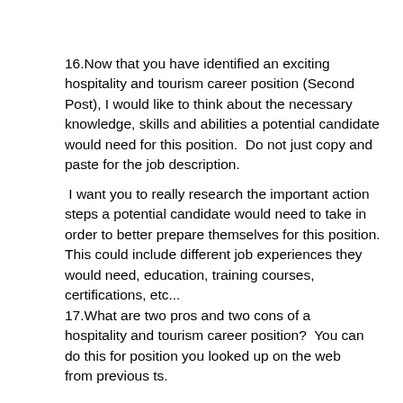16.Now that you have identified an exciting hospitality and tourism career position (Second Post), I would like to think about the necessary knowledge, skills and abilities a potential candidate would need for this position.  Do not just copy and paste for the job description.

 I want you to really research the important action steps a potential candidate would need to take in order to better prepare themselves for this position.  This could include different job experiences they would need, education, training courses, certifications, etc...
17.What are two pros and two cons of a hospitality and tourism career position?  You can do this for position you looked up on the web from previous ts.